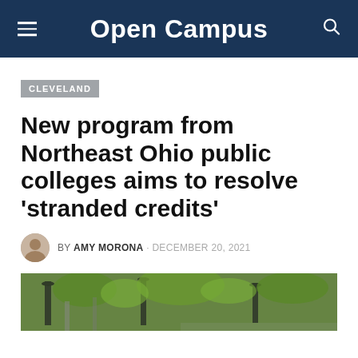Open Campus
CLEVELAND
New program from Northeast Ohio public colleges aims to resolve 'stranded credits'
BY AMY MORONA · DECEMBER 20, 2021
[Figure (photo): Outdoor campus photo showing lampposts and trees with autumn foliage]